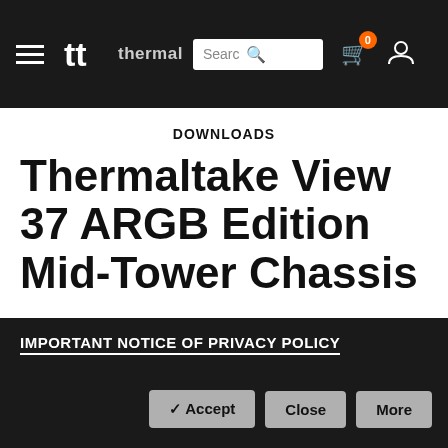[Figure (screenshot): Thermaltake website navigation bar with hamburger menu, logo, search box, cart icon with badge showing 0, and user icon on dark background]
DOWNLOADS
Thermaltake View 37 ARGB Edition Mid-Tower Chassis
Thermaltake View 37 ARGB Edition mid-tower chassis involves a gull-wing window panel for a view from more than just one angle. Features to built-in two 200mm 5V ARGB LED front fans and one 120mm 5V ARGB LED rear fan which are addressable to deliver 16.8 million
IMPORTANT NOTICE OF PRIVACY POLICY
✔ Accept   Close   More